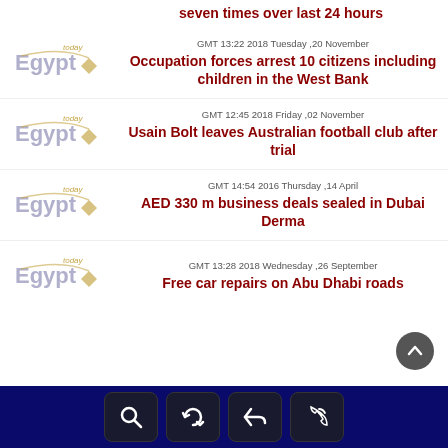seven times over last 24 hours
[Figure (logo): Egypt Today logo]
GMT 13:22 2018 Tuesday ,20 November
Occupation forces arrest 10 citizens including children in the West Bank
[Figure (logo): Egypt Today logo]
GMT 12:45 2018 Friday ,02 November
Usain Bolt leaves Australian football club after trial
[Figure (logo): Egypt Today logo]
GMT 14:54 2016 Thursday ,14 April
AED 330 m business deals sealed in Dubai Derma
[Figure (logo): Egypt Today logo]
GMT 13:28 2018 Wednesday ,26 September
Free car repairs on Abu Dhabi roads
[Figure (infographic): Dark blue footer navigation bar with search, refresh, back, and phone icons]